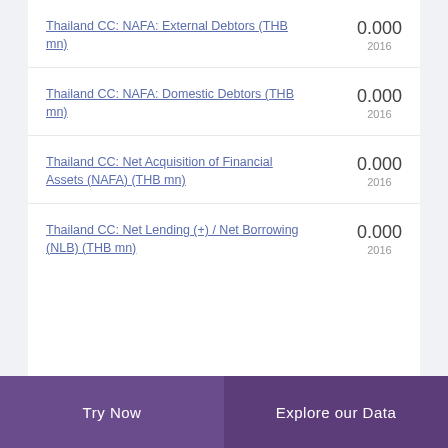Thailand CC: NAFA: External Debtors (THB mn)
Thailand CC: NAFA: Domestic Debtors (THB mn)
Thailand CC: Net Acquisition of Financial Assets (NAFA) (THB mn)
Thailand CC: Net Lending (+) / Net Borrowing (NLB) (THB mn)
Try Now | Explore our Data